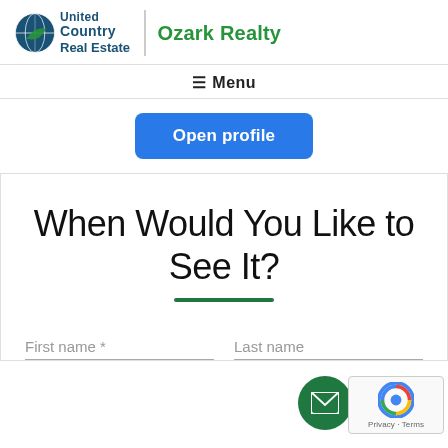[Figure (logo): United Country Real Estate logo with globe icon and green leaf, followed by vertical divider and Ozark Realty text in green]
≡ Menu
Open profile
When Would You Like to See It?
First name *
Last name